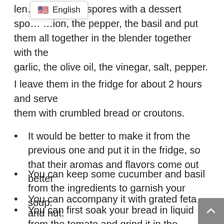len… move the spores with a dessert spo… …ion, the pepper, the basil and put them all together in the blender together with the garlic, the olive oil, the vinegar, salt, pepper.
I leave them in the fridge for about 2 hours and serve them with crumbled bread or croutons.
It would be better to make it from the previous one and put it in the fridge, so that their aromas and flavors come out better
You can keep some cucumber and basil from the ingredients to garnish your soup.
You can accompany it with grated feta and nut.
You can first soak your bread in liquid from the tomato and grind it in the blender with the ingredients. You will get a more velvety and